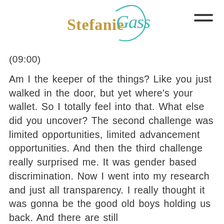Stefanie Gass
(09:00)
Am I the keeper of the things? Like you just walked in the door, but yet where's your wallet. So I totally feel into that. What else did you uncover? The second challenge was limited opportunities, limited advancement opportunities. And then the third challenge really surprised me. It was gender based discrimination. Now I went into my research and just all transparency. I really thought it was gonna be the good old boys holding us back. And there are still